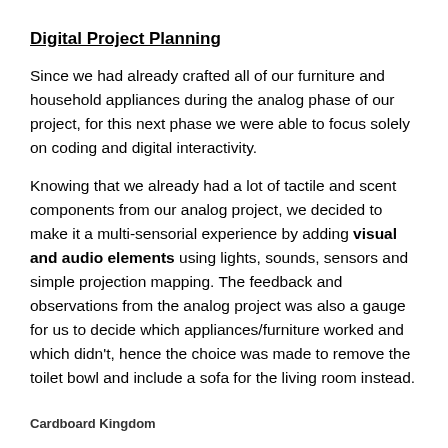Digital Project Planning
Since we had already crafted all of our furniture and household appliances during the analog phase of our project, for this next phase we were able to focus solely on coding and digital interactivity.
Knowing that we already had a lot of tactile and scent components from our analog project, we decided to make it a multi-sensorial experience by adding visual and audio elements using lights, sounds, sensors and simple projection mapping. The feedback and observations from the analog project was also a gauge for us to decide which appliances/furniture worked and which didn't, hence the choice was made to remove the toilet bowl and include a sofa for the living room instead.
Cardboard Kingdom